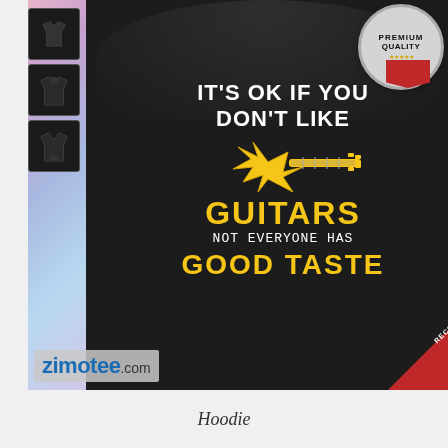[Figure (photo): Product listing page for a black hoodie from zimotee.com. The hoodie has text printed on it reading 'IT'S OK IF YOU DON'T LIKE GUITARS NOT EVERYONE HAS GOOD TASTE' with a yellow guitar graphic. The page shows three thumbnail views on the left, a 'Premium Quality' badge in the top right, a 'RECOMMENDED' red corner banner in the bottom right, and the zimotee.com logo watermark in the bottom left.]
Hoodie